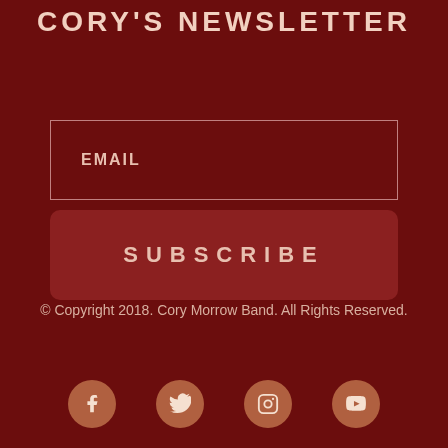CORY'S NEWSLETTER
EMAIL
SUBSCRIBE
© Copyright 2018. Cory Morrow Band. All Rights Reserved.
[Figure (illustration): Four social media icons (Facebook, Twitter, Instagram, YouTube) displayed as circular buttons in brown/tan color on dark red background]